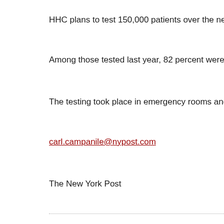HHC plans to test 150,000 patients over the next year.
Among those tested last year, 82 percent were women and 90 pe…
The testing took place in emergency rooms and outpatient clinics…
carl.campanile@nypost.com
The New York Post
Return to Archived Articles and Letters